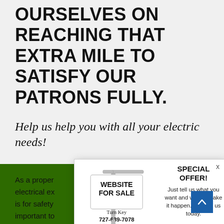OURSELVES ON REACHING THAT EXTRA MILE TO SATISFY OUR PATRONS FULLY.
Help us help you with all your electric needs!
As a proper... are an electrical ex... f whether it is for safety... rs. It's important to... u are able to rely on to... t cutting any sort of c... pply
[Figure (infographic): Popup advertisement showing a real estate style sign reading WEBSITE FOR SALE, Turn Key, 727-639-7078, with a special offer box and red bottom banner about buying websites for business.]